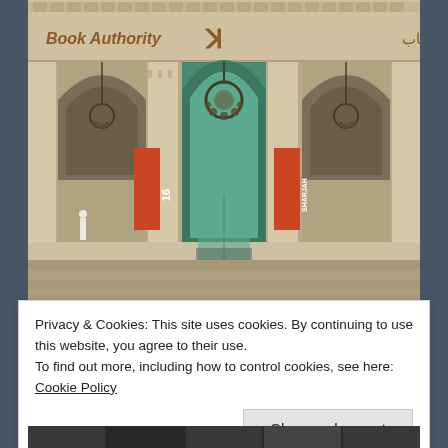[Figure (photo): Exterior facade of Sharjah Book Authority building with three Islamic pointed arches, ornamental chandelier in center arch, orange vertical banners with '16' text, Arabic text and 'Book Authority' signage on the building header, and steps leading to the entrance.]
Privacy & Cookies: This site uses cookies. By continuing to use this website, you agree to their use.
To find out more, including how to control cookies, see here: Cookie Policy
Close and accept